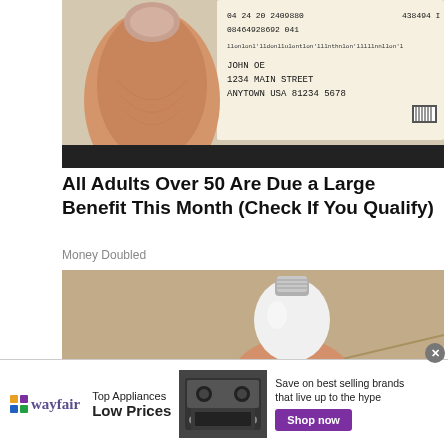[Figure (photo): Photo of a hand holding a government check/document showing address: JOHN OE, 1234 MAIN STREET, ANYTOWN USA 81234 5678 with routing numbers 04 24 20 2409880, 08464928692 041 438494 I]
All Adults Over 50 Are Due a Large Benefit This Month (Check If You Qualify)
Money Doubled
[Figure (photo): Photo of a hand holding a white LED light bulb]
[Figure (other): Wayfair advertisement banner: Top Appliances Low Prices - Save on best selling brands that live up to the hype - Shop now button, with image of a stove/oven appliance]